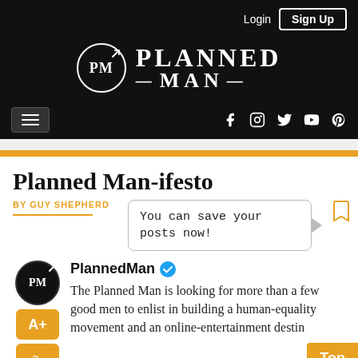Planned Man website header with Login, Sign Up, logo (PM / PLANNED MAN), hamburger menu, social icons (Facebook, Instagram, Twitter, YouTube, Pinterest)
Planned Man-ifesto
BY GUY SHEPHERD
You can save your posts now!
[Figure (screenshot): PlannedMan verified account with circular PM logo. Two font-size buttons A+ and a- in gold/orange. Text: The Planned Man is looking for more than a few good men to enlist in building a human-equality movement and an online-entertainment destin...]
Top